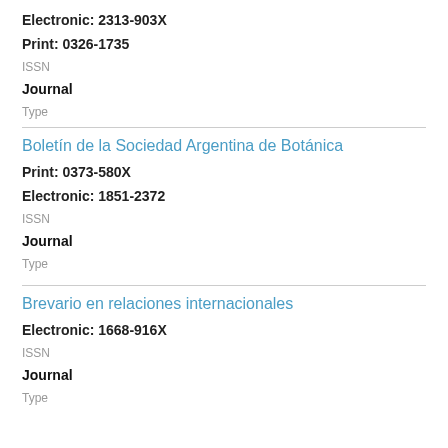Electronic: 2313-903X
Print: 0326-1735
ISSN
Journal
Type
Boletín de la Sociedad Argentina de Botánica
Print: 0373-580X
Electronic: 1851-2372
ISSN
Journal
Type
Brevario en relaciones internacionales
Electronic: 1668-916X
ISSN
Journal
Type